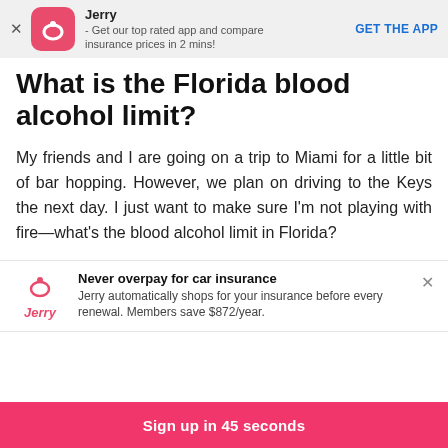[Figure (logo): Jerry app banner with pink rounded square icon showing an arc/smile shape, app name 'Jerry', description '- Get our top rated app and compare insurance prices in 2 mins!', and a 'GET THE APP' button in blue.]
What is the Florida blood alcohol limit?
My friends and I are going on a trip to Miami for a little bit of bar hopping. However, we plan on driving to the Keys the next day. I just want to make sure I'm not playing with fire—what's the blood alcohol limit in Florida?
[Figure (logo): Jerry insurance ad banner: Jerry logo (pink arc icon and italic 'Jerry' text), headline 'Never overpay for car insurance', body 'Jerry automatically shops for your insurance before every renewal. Members save $872/year.']
Sign up in 45 seconds